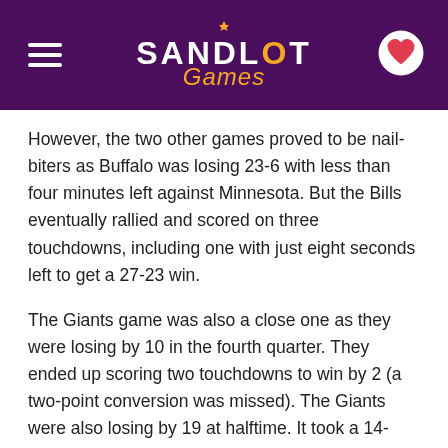Sandlot Games
However, the two other games proved to be nail-biters as Buffalo was losing 23-6 with less than four minutes left against Minnesota. But the Bills eventually rallied and scored on three touchdowns, including one with just eight seconds left to get a 27-23 win.
The Giants game was also a close one as they were losing by 10 in the fourth quarter. They ended up scoring two touchdowns to win by 2 (a two-point conversion was missed). The Giants were also losing by 19 at halftime. It took a 14-yard touchdown pass by Kyle Lauletta to Alonzo Russell with no time left for the Giants to snatch the victory.
The Beau Rivage Resort & Casino in Biloxi and Gold